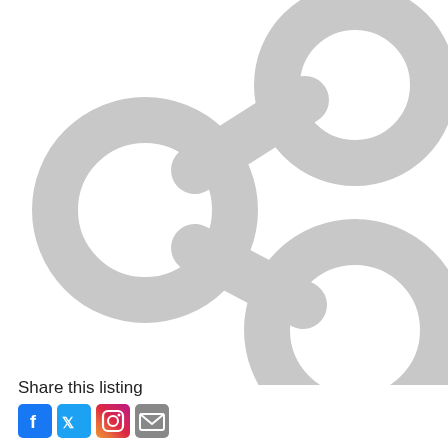[Figure (illustration): Large light gray share/network icon consisting of three circles connected by two diagonal lines — one circle on the left (middle height), one circle upper right, one circle lower right — forming a share symbol]
Share this listing
[Figure (other): Row of four social media icon buttons: Facebook (blue), Twitter (light blue), Instagram (gradient), and Email (gray)]